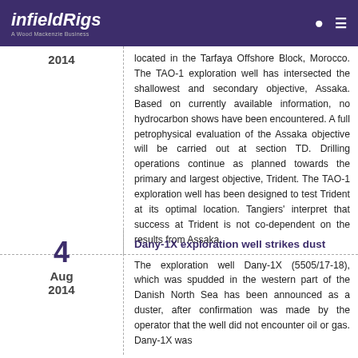infieldRigs — A Wood Mackenzie Business
located in the Tarfaya Offshore Block, Morocco. The TAO-1 exploration well has intersected the shallowest and secondary objective, Assaka. Based on currently available information, no hydrocarbon shows have been encountered. A full petrophysical evaluation of the Assaka objective will be carried out at section TD. Drilling operations continue as planned towards the primary and largest objective, Trident. The TAO-1 exploration well has been designed to test Trident at its optimal location. Tangiers' interpret that success at Trident is not co-dependent on the results from Assaka.
Dany-1X exploration well strikes dust
The exploration well Dany-1X (5505/17-18), which was spudded in the western part of the Danish North Sea has been announced as a duster, after confirmation was made by the operator that the well did not encounter oil or gas. Dany-1X was